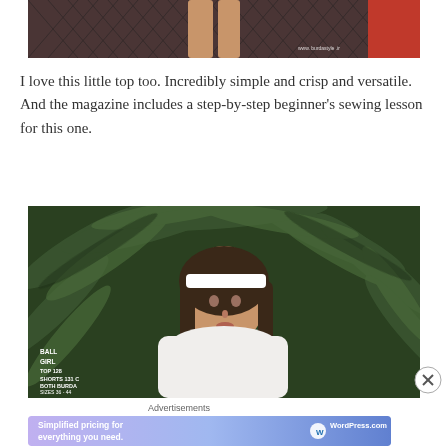[Figure (photo): Partial photo showing legs near a chain-link fence with a red element, Burdastyle watermark visible]
I love this little top too. Incredibly simple and crisp and versatile. And the magazine includes a step-by-step beginner's sewing lesson for this one.
[Figure (photo): Fashion photo of a brunette woman wearing a white headband and white top, posed against green tropical palm leaves background. Text overlay reads: BALL GIRL TOP 128 SHORTS 131 C BOTH BURDA SIZES 36-44 It can't be topped – the praise has with heat]
Advertisements
[Figure (screenshot): WordPress.com advertisement banner: 'Simplified pricing for everything you need.' with WordPress.com logo on blue/purple gradient background]